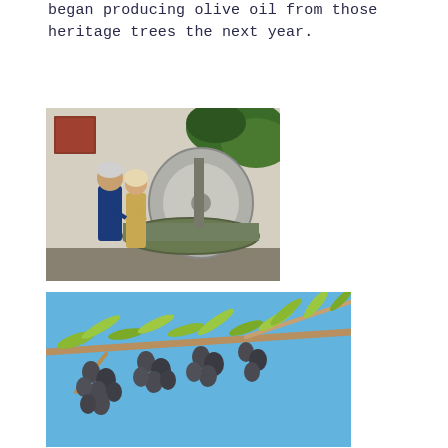began producing olive oil from those heritage trees the next year.
[Figure (photo): Two people (a man and a woman) standing next to a large stone olive mill wheel outdoors, with a building wall and green plants in the background.]
[Figure (photo): Close-up photograph of an olive branch with dark ripe olives and green leaves against a bright blue sky.]